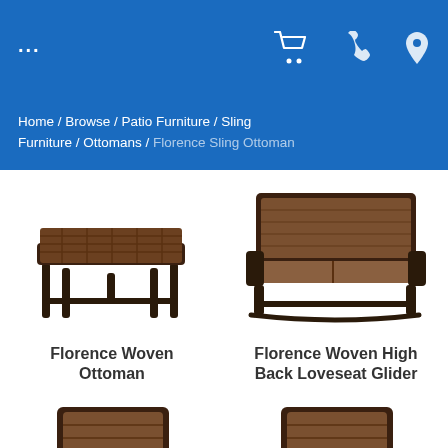... [cart icon] [phone icon] [location icon]
Home / Browse / Patio Furniture / Sling Furniture / Ottomans / Florence Sling Ottoman
[Figure (photo): Florence Woven Ottoman - patio ottoman with woven seat and dark metal legs, viewed from side]
[Figure (photo): Florence Woven High Back Loveseat Glider - patio loveseat glider with woven back and cushions, dark metal frame]
Florence Woven Ottoman
Florence Woven High Back Loveseat Glider
[Figure (photo): Patio chair with woven dark brown back and dark metal frame with armrests, swivel rocker style]
[Figure (photo): Patio chair with woven dark brown back and dark metal frame with armrests, similar style chair]